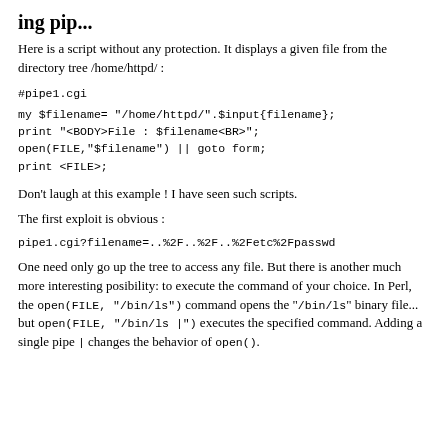ing pip...
Here is a script without any protection. It displays a given file from the directory tree /home/httpd/ :
#pipe1.cgi
my $filename= "/home/httpd/".$input{filename};
print "<BODY>File : $filename<BR>";
open(FILE,"$filename") || goto form;
print <FILE>;
Don't laugh at this example ! I have seen such scripts.
The first exploit is obvious :
pipe1.cgi?filename=..%2F..%2F..%2Fetc%2Fpasswd
One need only go up the tree to access any file. But there is another much more interesting posibility: to execute the command of your choice. In Perl, the open(FILE, "/bin/ls") command opens the "/bin/ls" binary file... but open(FILE, "/bin/ls |") executes the specified command. Adding a single pipe | changes the behavior of open().